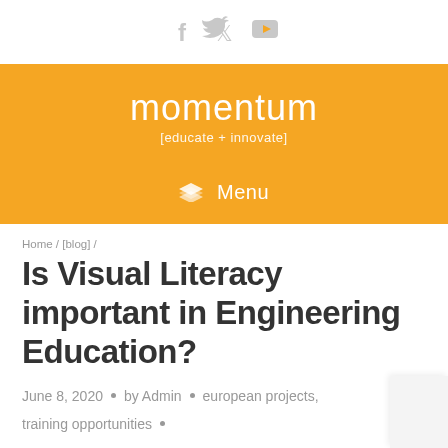[Figure (logo): Social media icons: Facebook (f), Twitter (bird), YouTube (play button in rectangle)]
[Figure (logo): Momentum [educate + innovate] logo on orange background with menu bar]
Home / [blog] /
Is Visual Literacy important in Engineering Education?
June 8, 2020  •  by Admin  •  european projects, training opportunities  •